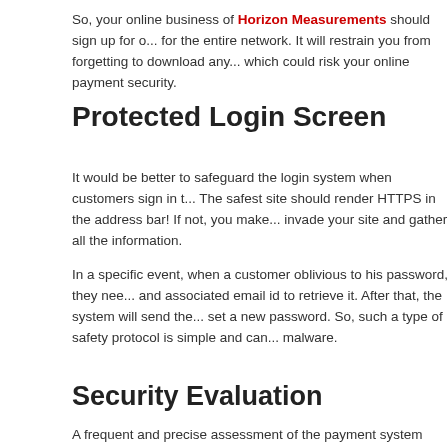So, your online business of Horizon Measurements should sign up for o... for the entire network. It will restrain you from forgetting to download any... which could risk your online payment security.
Protected Login Screen
It would be better to safeguard the login system when customers sign in t... The safest site should render HTTPS in the address bar! If not, you make... invade your site and gather all the information.
In a specific event, when a customer oblivious to his password, they nee... and associated email id to retrieve it. After that, the system will send the... set a new password. So, such a type of safety protocol is simple and can... malware.
Security Evaluation
A frequent and precise assessment of the payment system help analyzes... hacking. With the help of penetration test evaluators, the potential hacke... identified and stopped.
So, if you are the owner of Speakers' Spotlight, you should do a thoroug... secured transaction strategy can be implemented by exploring the networ...